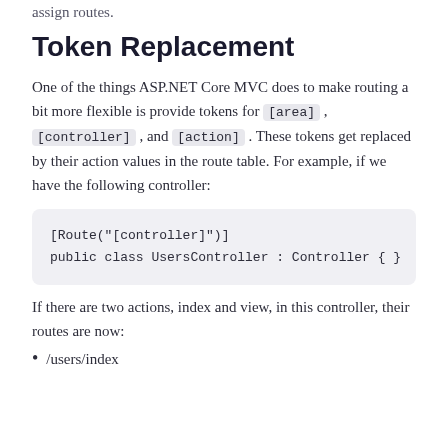assign routes.
Token Replacement
One of the things ASP.NET Core MVC does to make routing a bit more flexible is provide tokens for [area], [controller], and [action]. These tokens get replaced by their action values in the route table. For example, if we have the following controller:
[Route("[controller]")]
public class UsersController : Controller { }
If there are two actions, index and view, in this controller, their routes are now:
/users/index